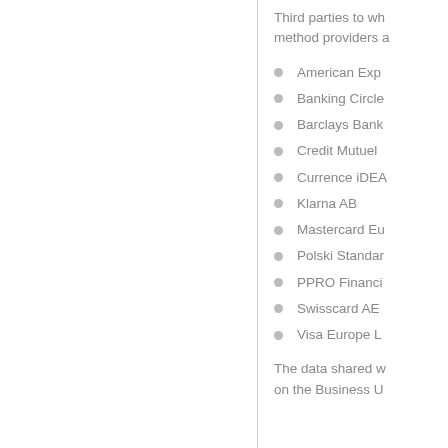Third parties to wh... method providers a...
American Exp...
Banking Circle...
Barclays Bank...
Credit Mutuel ...
Currence iDEA...
Klarna AB
Mastercard Eu...
Polski Standar...
PPRO Financi...
Swisscard AE...
Visa Europe L...
The data shared w... on the Business U...